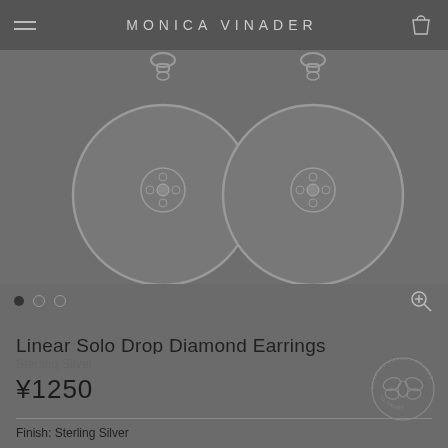MONICA VINADER
[Figure (photo): Two circular drop diamond earrings on a dark background, showing front face with diamond center detail, hanging from chain links.]
Linear Solo Drop Diamond Earrings
Sterling Silver
¥1250
Finish: Sterling Silver